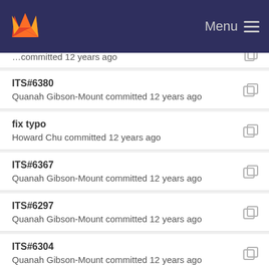GitLab — Menu
ITS#6380
Quanah Gibson-Mount committed 12 years ago
fix typo
Howard Chu committed 12 years ago
ITS#6367
Quanah Gibson-Mount committed 12 years ago
ITS#6297
Quanah Gibson-Mount committed 12 years ago
ITS#6304
Quanah Gibson-Mount committed 12 years ago
ITS#6360
Quanah Gibson-Mount committed 12 years ago
ITS#6326
Quanah Gibson-Mount committed 12 years ago
ITS#6347 (partial)